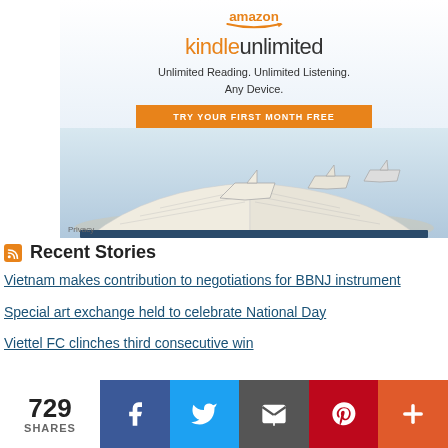[Figure (screenshot): Kindle Unlimited advertisement banner showing logo, tagline 'Unlimited Reading. Unlimited Listening. Any Device.', orange 'TRY YOUR FIRST MONTH FREE' button, and decorative image of paper boats on an open book.]
Recent Stories
Vietnam makes contribution to negotiations for BBNJ instrument
Special art exchange held to celebrate National Day
Viettel FC clinches third consecutive win
729 SHARES — Facebook, Twitter, Email, Pinterest, More social sharing buttons